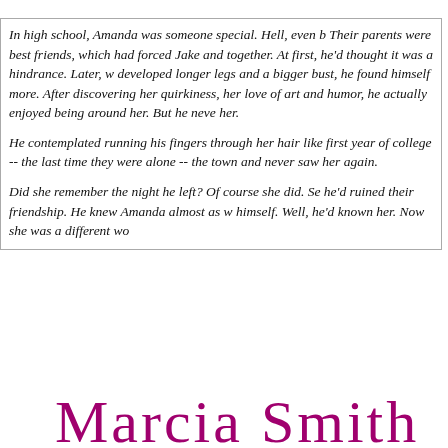In high school, Amanda was someone special. Hell, even b Their parents were best friends, which had forced Jake and together. At first, he'd thought it was a hindrance. Later, w developed longer legs and a bigger bust, he found himself more. After discovering her quirkiness, her love of art and humor, he actually enjoyed being around her. But he neve her.

He contemplated running his fingers through her hair like first year of college -- the last time they were alone -- the town and never saw her again.

Did she remember the night he left? Of course she did. Se he'd ruined their friendship. He knew Amanda almost as w himself. Well, he'd known her. Now she was a different wo
[Figure (illustration): Cursive signature text in magenta/dark pink color at the bottom of the page]